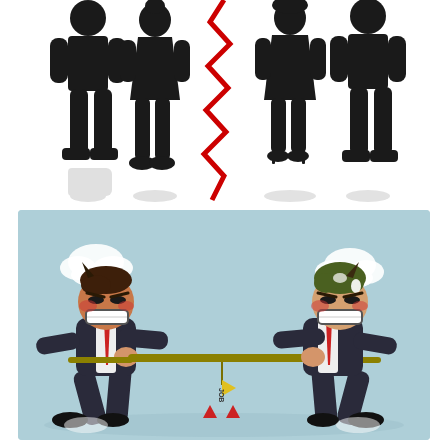[Figure (illustration): Two groups of black silhouetted business figures (man and woman on left, woman and man on right) separated by a red zigzag lightning bolt crack running vertically down the center, suggesting conflict or division.]
[Figure (illustration): Cartoon illustration on a light blue background of two angry businessmen in suits pulling opposite ends of a rope/stick in a tug-of-war. A yellow flag labeled 'JOB' hangs from the center. Both men are gritting their teeth with red cheeks, leaning back. Speech/steam clouds float above them. Red triangular markers on the ground.]